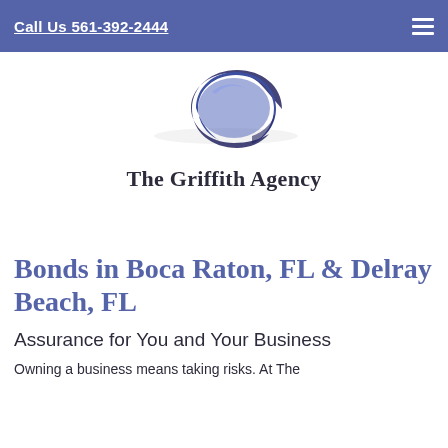Call Us 561-392-2444
[Figure (logo): The Griffith Agency logo: a blue crescent/spiral G shape above the text 'The Griffith Agency']
Bonds in Boca Raton, FL & Delray Beach, FL
Assurance for You and Your Business
Owning a business means taking risks. At The